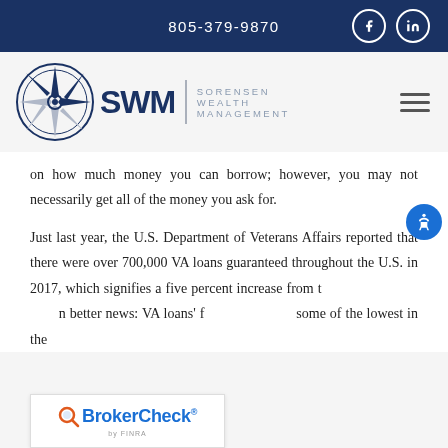805-379-9870
[Figure (logo): Sorensen Wealth Management (SWM) logo with compass rose, and navigation hamburger menu]
on how much money you can borrow; however, you may not necessarily get all of the money you ask for.
Just last year, the U.S. Department of Veterans Affairs reported that there were over 700,000 VA loans guaranteed throughout the U.S. in 2017, which signifies a five percent increase from the previous year. Even better news: VA loans' famously low interest rates are some of the lowest in the
[Figure (logo): BrokerCheck by FINRA logo overlay at bottom left]